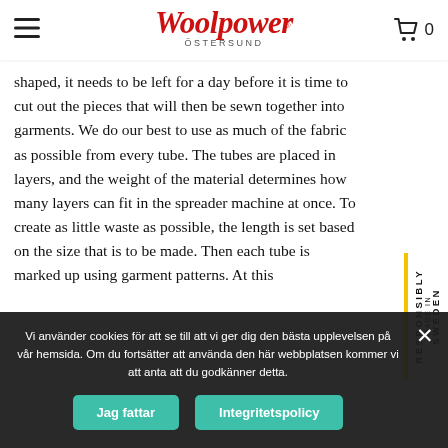Woolpower Östersund — navigation header with menu icon, logo, and cart icon (0 items)
shaped, it needs to be left for a day before it is time to cut out the pieces that will then be sewn together into garments. We do our best to use as much of the fabric as possible from every tube. The tubes are placed in layers, and the weight of the material determines how many layers can fit in the spreader machine at once. To create as little waste as possible, the length is set based on the size that is to be made. Then each tube is marked up using garment patterns. At this
[Figure (other): Side badge reading RESPONSIBLY MADE IN SWEDEN in vertical text with yellow left border]
Vi använder cookies för att se till att vi ger dig den bästa upplevelsen på vår hemsida. Om du fortsätter att använda den här webbplatsen kommer vi att anta att du godkänner detta.
Jag fattar
Integritetspolicy